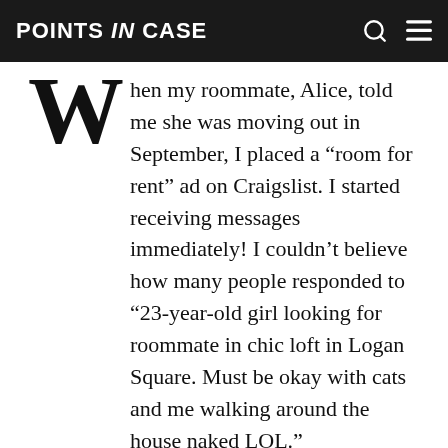POINTS IN CASE
When my roommate, Alice, told me she was moving out in September, I placed a “room for rent” ad on Craigslist. I started receiving messages immediately! I couldn’t believe how many people responded to “23-year-old girl looking for roommate in chic loft in Logan Square. Must be okay with cats and me walking around the house naked LOL.”
Most of the emails were from guys, but I really wanted to live with a girl for safety reasons (and because my boyfriend, Chip, would just DIE if I lived with a man).
Then I met Adam. He was friendly, smart, and best of